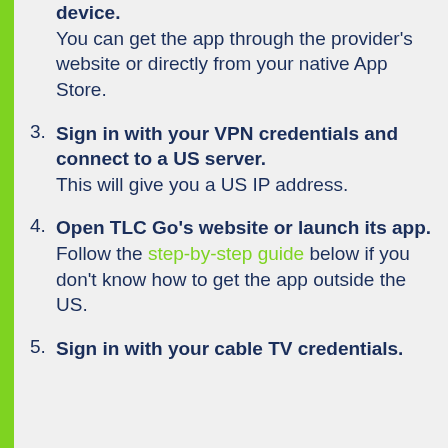device. You can get the app through the provider's website or directly from your native App Store.
3. Sign in with your VPN credentials and connect to a US server. This will give you a US IP address.
4. Open TLC Go's website or launch its app. Follow the step-by-step guide below if you don't know how to get the app outside the US.
5. Sign in with your cable TV credentials.